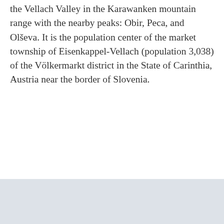the Vellach Valley in the Karawanken mountain range with the nearby peaks: Obir, Peca, and Olševa. It is the population center of the market township of Eisenkappel-Vellach (population 3,038) of the Völkermarkt district in the State of Carinthia, Austria near the border of Slovenia.